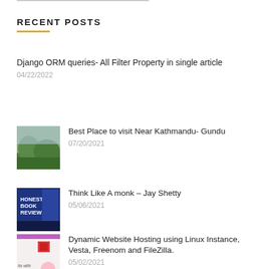RECENT POSTS
Django ORM queries- All Filter Property in single article
04/22/2022
Best Place to visit Near Kathmandu- Gundu
07/20/2021
Think Like A monk – Jay Shetty
05/06/2021
Dynamic Website Hosting using Linux Instance, Vesta, Freenom and FileZilla.
05/02/2021